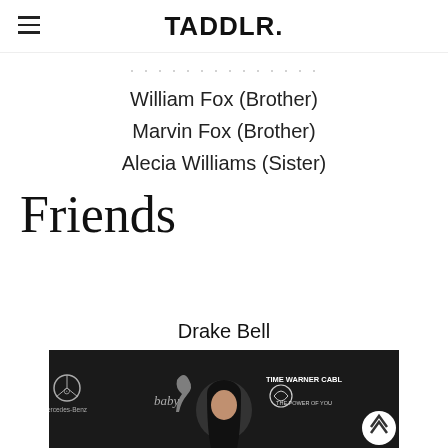TADDLR.
William Fox (Brother)
Marvin Fox (Brother)
Alecia Williams (Sister)
Friends
Drake Bell
[Figure (photo): Photo of a person at a Mercedes-Benz and Time Warner Cable event, dark background with event logos visible. A scroll-to-top button appears in the lower right.]